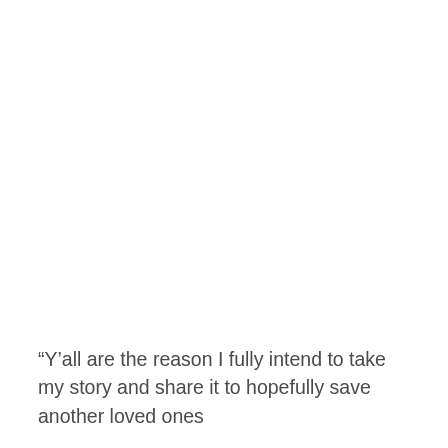“Y’all are the reason I fully intend to take my story and share it to hopefully save another loved ones